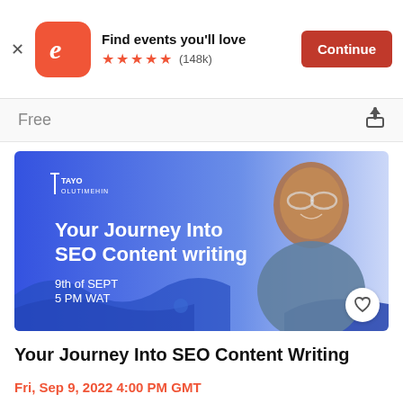[Figure (screenshot): Eventbrite app banner with logo, 'Find events you'll love', 5 stars (148k), and Continue button]
Free
[Figure (photo): Event promotional banner: blue gradient background with smiling man wearing glasses and grey shirt. Text reads: Tayo Olutimehin, Your Journey Into SEO Content writing, 9th of SEPT, 5 PM WAT]
Your Journey Into SEO Content Writing
Fri, Sep 9, 2022 4:00 PM GMT